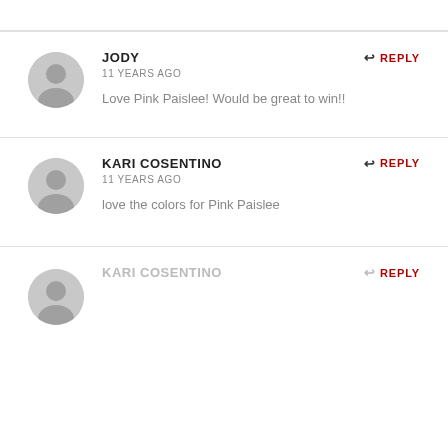JODY
11 YEARS AGO
Love Pink Paislee! Would be great to win!!
REPLY
KARI COSENTINO
11 YEARS AGO
love the colors for Pink Paislee
REPLY
KARI COSENTINO
REPLY